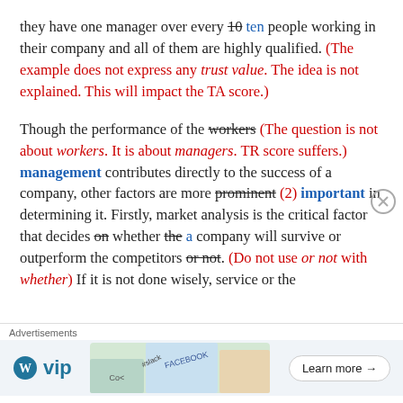they have one manager over every 10 [strikethrough] ten people working in their company and all of them are highly qualified. (The example does not express any trust value. The idea is not explained. This will impact the TA score.)
Though the performance of the workers [strikethrough] (The question is not about workers. It is about managers. TR score suffers.) management contributes directly to the success of a company, other factors are more prominent [strikethrough] (2) important in determining it. Firstly, market analysis is the critical factor that decides on [strikethrough] whether the [strikethrough] a company will survive or outperform the competitors or not [strikethrough]. (Do not use or not with whether) If it is not done wisely, service or the
Advertisements